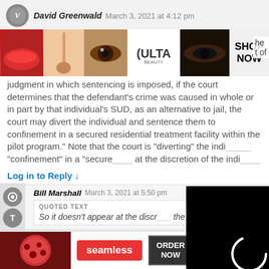David Greenwald March 3, 2021 at 4:12 pm
[Figure (photo): Ulta Beauty advertisement banner showing cosmetic product images (lips, makeup brush, eye, ULTA logo, smoky eye) with SHOP NOW button]
judgment in which sentencing is imposed, if the court determines that the defendant's crime was caused in whole or in part by that individual's SUD, as an alternative to jail, the court may divert the individual and sentence them to confinement in a secured residential treatment facility within the pilot program.” Note that the court is “diverting” the indi... “confinement” in a “secure... at the discretion of the indi...
Log in to Reply ↓
Bill Marshall March 3, 2021 at 5:50 pm
QUOTED TEXT
So it doesn’t appear at the discr... the
[Figure (other): Loading spinner (white circular arc) on black background video overlay with X close button]
[Figure (photo): Seamless food delivery advertisement showing pizza image on left, seamless logo in red center, ORDER NOW button on right]